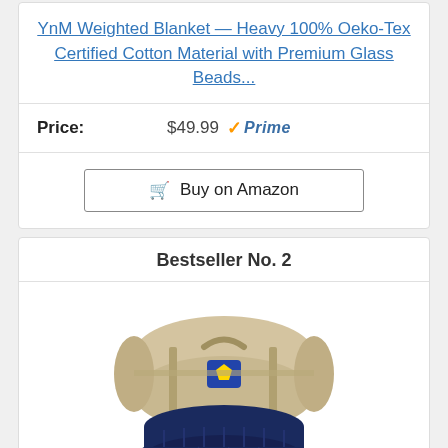YnM Weighted Blanket — Heavy 100% Oeko-Tex Certified Cotton Material with Premium Glass Beads...
Price: $49.99 Prime
Buy on Amazon
Bestseller No. 2
[Figure (photo): A navy blue knit weighted blanket partially unrolled next to its beige carrying case/bag with a logo patch.]